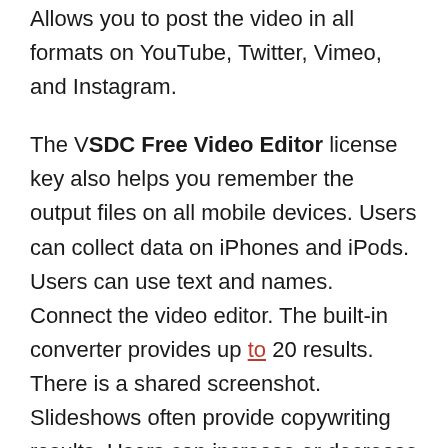Allows you to post the video in all formats on YouTube, Twitter, Vimeo, and Instagram.
The VSDC Free Video Editor license key also helps you remember the output files on all mobile devices. Users can collect data on iPhones and iPods. Users can use text and names. Connect the video editor. The built-in converter provides up to 20 results. There is a shared screenshot. Slideshows often provide copywriting results. Users can increase or decrease the appearance of the image. Users can check the brightness and comparison results.
The VSDC Video Editor Pro activation key is to move to different sizes, to remove, annotate, or lock open parts of